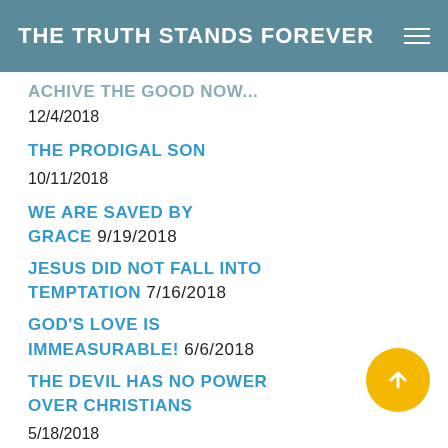THE TRUTH STANDS FOREVER
(partial title cut off at top)
12/4/2018
THE PRODIGAL SON
10/11/2018
WE ARE SAVED BY GRACE 9/19/2018
JESUS DID NOT FALL INTO TEMPTATION 7/16/2018
GOD'S LOVE IS IMMEASURABLE! 6/6/2018
THE DEVIL HAS NO POWER OVER CHRISTIANS
5/18/2018
THEN THEIR EYES WERE